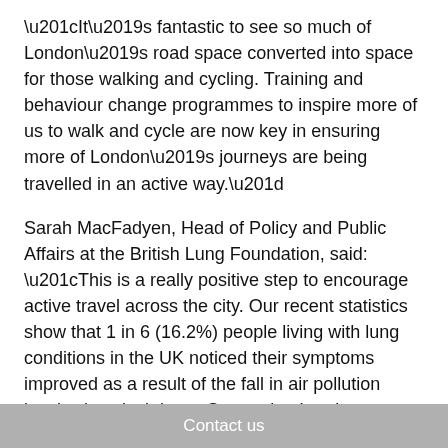“It’s fantastic to see so much of London’s road space converted into space for those walking and cycling. Training and behaviour change programmes to inspire more of us to walk and cycle are now key in ensuring more of London’s journeys are being travelled in an active way.”
Sarah MacFadyen, Head of Policy and Public Affairs at the British Lung Foundation, said: “This is a really positive step to encourage active travel across the city. Our recent statistics show that 1 in 6 (16.2%) people living with lung conditions in the UK noticed their symptoms improved as a result of the fall in air pollution levels since lockdown. Supporting Londoners to complete their journeys on a bike or on foot where possible will help keep cars off the road and reduce damaging air pollution. The pandemic has shown us the
Contact us